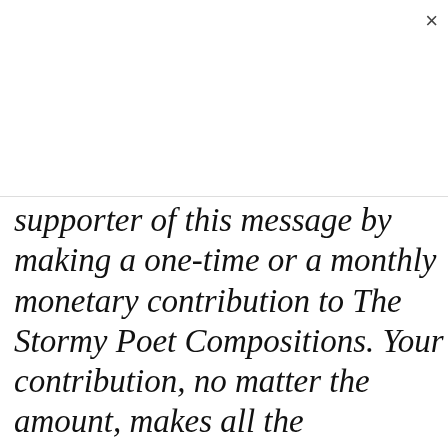To receive updates straight to your inbox about my free literary works, new book release dates, or any of my upcoming events you can be a part of, please feel free to
Subscribe
supporter of this message by making a one-time or a monthly monetary contribution to The Stormy Poet Compositions. Your contribution, no matter the amount, makes all the difference. One-Time Contribution: https://www.paypal.me/th Cash App $thestormypoet, $5 Dollar a Month Contribution (Free E-Book perk): https://www.patreon.com/TheSto